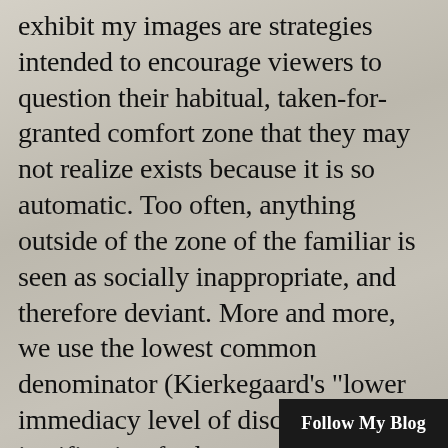exhibit my images are strategies intended to encourage viewers to question their habitual, taken-for-granted comfort zone that they may not realize exists because it is so automatic. Too often, anything outside of the zone of the familiar is seen as socially inappropriate, and therefore deviant. More and more, we use the lowest common denominator (Kierkegaard's "lower immediacy level of discussion") as a justification for how we make our decisions for what can or what must not go on in the public realm. When the so-called normal dictates what is real and what can be legitimately expressed in public (i.e., self-censorship), the voice of authority remains uncontested. The illusion that we have creative and intellectual freedom is based on the prevailing notion that a "neu
Follow My Blog